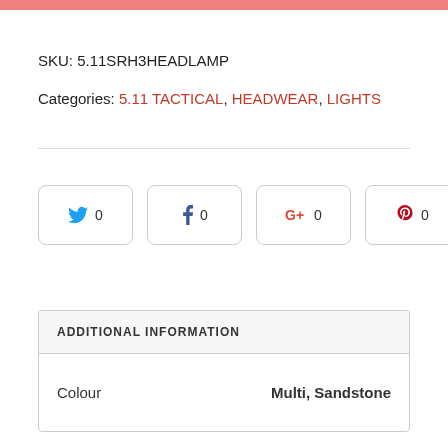SKU: 5.11SRH3HEADLAMP
Categories: 5.11 TACTICAL, HEADWEAR, LIGHTS
[Figure (infographic): Social share buttons row: Twitter (0), Facebook (0), Google+ (0), Pinterest (0)]
| ADDITIONAL INFORMATION |  |
| --- | --- |
| Colour | Multi, Sandstone |